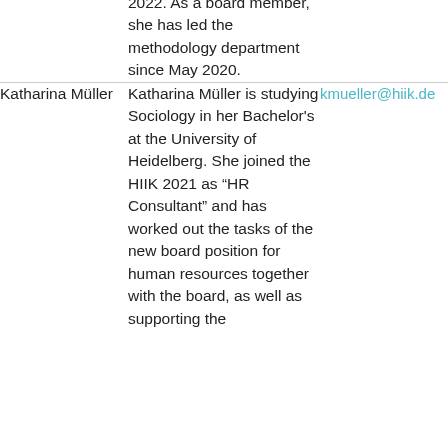2022. As a board member, she has led the methodology department since May 2020.
Katharina Müller
Katharina Müller is studying Sociology in her Bachelor's at the University of Heidelberg. She joined the HIIK 2021 as “HR Consultant” and has worked out the tasks of the new board position for human resources together with the board, as well as supporting the
kmueller@hiik.de